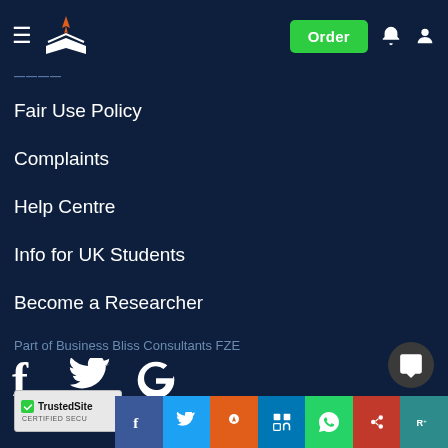Order
Fair Use Policy
Complaints
Help Centre
Info for UK Students
Become a Researcher
Part of Business Bliss Consultants FZE
[Figure (logo): Social media icons: Facebook (f), Twitter (bird), Google (G)]
[Figure (logo): TrustedSite Certified Secure badge]
[Figure (infographic): Social share bar with icons: Facebook, Twitter, Reddit, LinkedIn, WhatsApp, Mendeley, ResearchGate]